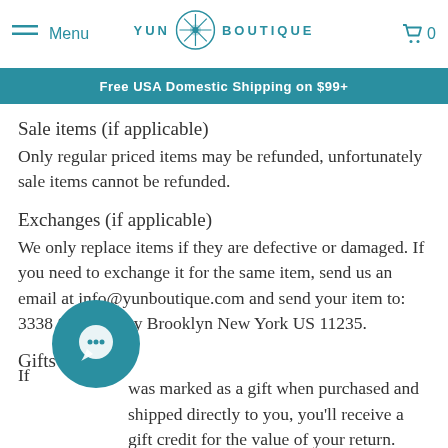Menu | Yun Boutique | 0
Free USA Domestic Shipping on $99+
Sale items (if applicable)
Only regular priced items may be refunded, unfortunately sale items cannot be refunded.
Exchanges (if applicable)
We only replace items if they are defective or damaged. If you need to exchange it for the same item, send us an email at info@yunboutique.com and send your item to: 3338 Shore Pkwy Brooklyn New York US 11235.
Gifts
If it was marked as a gift when purchased and shipped directly to you, you’ll receive a gift credit for the value of your return. Once the returned item is received, a gift certificate will